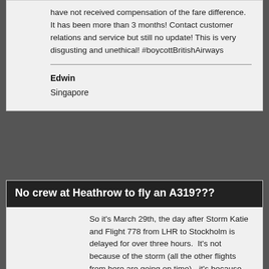have not received compensation of the fare difference. It has been more than 3 months! Contact customer relations and service but still no update! This is very disgusting and unethical! #boycottBritishAirways
Edwin
Singapore
No crew at Heathrow to fly an A319???
So it's March 29th, the day after Storm Katie and Flight 778 from LHR to Stockholm is delayed for over three hours.  It's not because of the storm (all the other flights from here are going on time) - it's because there is no crew to fly an A320 available at